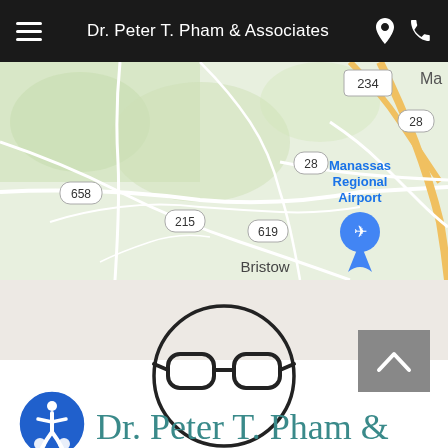Dr. Peter T. Pham & Associates
[Figure (map): Google Maps view showing Manassas Regional Airport area with roads, including route numbers 234, 28, 658, 215, 619, and places Bristow and Manassas Regional Airport with a location pin.]
[Figure (logo): Circular logo with glasses icon inside, representing Dr. Peter T. Pham & Associates optometry practice]
Dr. Peter T. Pham &